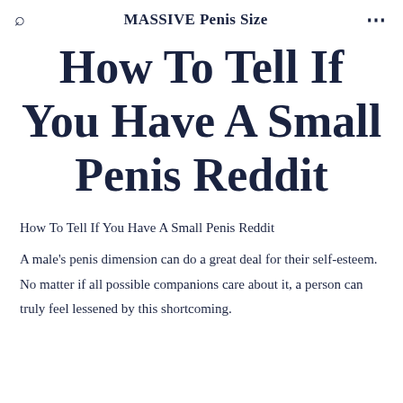MASSIVE Penis Size
How To Tell If You Have A Small Penis Reddit
How To Tell If You Have A Small Penis Reddit
A male's penis dimension can do a great deal for their self-esteem. No matter if all possible companions care about it, a person can truly feel lessened by this shortcoming.